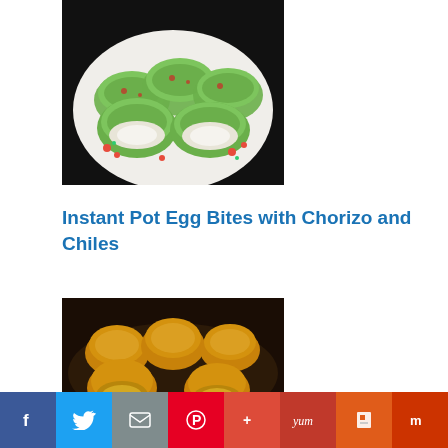[Figure (photo): Green herb egg bites/rolls on a white plate with red pepper garnish]
Instant Pot Egg Bites with Chorizo and Chiles
[Figure (photo): Golden-brown egg bites in a dark pan, partially cut open showing filling]
[Figure (other): Social sharing bar with Facebook, Twitter, Email, Pinterest, Google+, Yummly, Flipboard, Mix buttons]